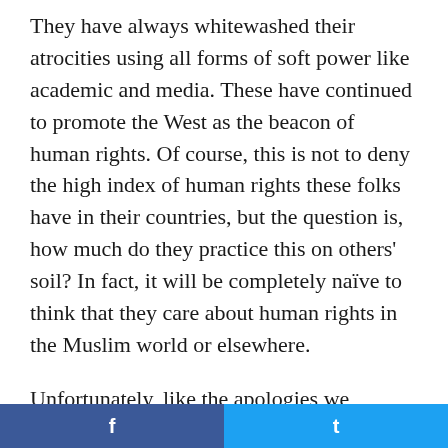They have always whitewashed their atrocities using all forms of soft power like academic and media. These have continued to promote the West as the beacon of human rights. Of course, this is not to deny the high index of human rights these folks have in their countries, but the question is, how much do they practice this on others' soil? In fact, it will be completely naïve to think that they care about human rights in the Muslim world or elsewhere.
Unfortunately, like the apologies we witnessed today, some decades later, a French president may also apologise for his country's economic atrocities in Africa. An American president may also say, "we are sorry for destroying Iraq" and "we acknowledged our role in Afghanistan". A British PM may also come up to say
f  t